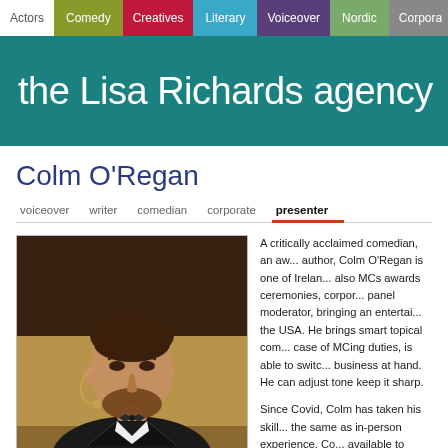Actors | Comedy | Creatives | Literary | Voiceover | Nordic | Corporate
the Lisa Richards agency
Colm O'Regan
voiceover  writer  comedian  corporate  presenter
[Figure (photo): Photo of Colm O'Regan, a man with brown hair and beard wearing a tuxedo and speaking into a microphone headset at a formal event]
A critically acclaimed comedian, an award-winning author, Colm O'Regan is one of Ireland's... also MCs awards ceremonies, corporate events, panel moderator, bringing an entertaining... the USA. He brings smart topical com... case of MCing duties, is able to switch... business at hand. He can adjust tone... keep it sharp.
Since Covid, Colm has taken his skills... the same as in-person experience, Co... available to bring laughter to thousan...